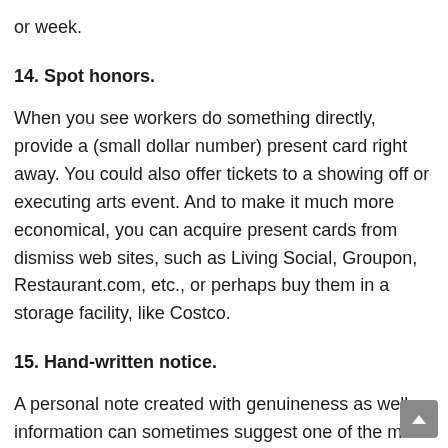or week.
14. Spot honors.
When you see workers do something directly, provide a (small dollar number) present card right away. You could also offer tickets to a showing off or executing arts event. And to make it much more economical, you can acquire present cards from dismiss web sites, such as Living Social, Groupon, Restaurant.com, etc., or perhaps buy them in a storage facility, like Costco.
15. Hand-written notice.
A personal note created with genuineness as well as information can sometimes suggest one of the most to a